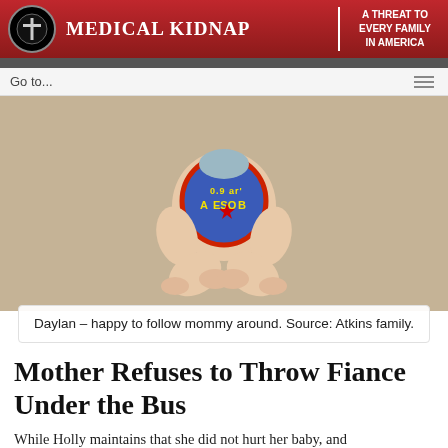[Figure (logo): Medical Kidnap website header banner with red gradient background, circular black logo with cross, site title 'MEDICAL KIDNAP' in white uppercase serif font, vertical white divider, and tagline 'A THREAT TO EVERY FAMILY IN AMERICA' in white bold uppercase text]
[Figure (photo): A baby/toddler sitting on carpet wearing a blue and red bib with text on it, viewed from mid-torso down, hands folded in lap]
Daylan – happy to follow mommy around. Source: Atkins family.
Mother Refuses to Throw Fiance Under the Bus
While Holly maintains that she did not hurt her baby, and